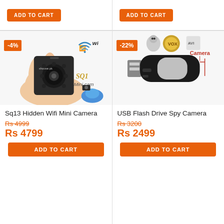[Figure (screenshot): ADD TO CART button top left product]
[Figure (screenshot): ADD TO CART button top right product]
[Figure (photo): Sq13 Hidden Wifi Mini Camera product image with -4% badge, WiFi symbol, SQ1 Mini cam label]
Sq13 Hidden Wifi Mini Camera
Rs 4999 (strikethrough), Rs 4799
[Figure (screenshot): ADD TO CART button for Sq13 camera]
[Figure (photo): USB Flash Drive Spy Camera product image with -22% badge, icons for mouse/VOX/AVI, Camera label]
USB Flash Drive Spy Camera
Rs 3200 (strikethrough), Rs 2499
[Figure (screenshot): ADD TO CART button for USB Flash Drive Spy Camera]